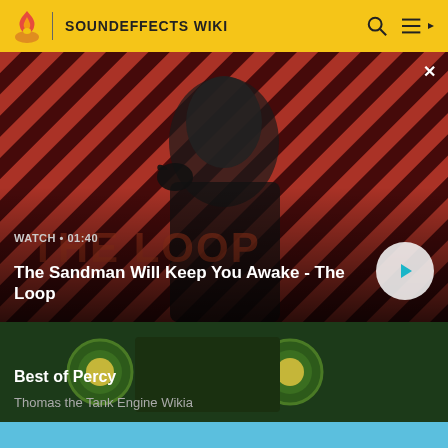SOUNDEFFECTS WIKI
[Figure (screenshot): Video thumbnail for 'The Sandman Will Keep You Awake - The Loop' showing a dark figure with a crow on a red and black striped background. Shows WATCH • 01:40 timestamp and play button.]
The Sandman Will Keep You Awake - The Loop
[Figure (screenshot): Thumbnail image for 'Best of Percy' showing a green Thomas the Tank Engine character face closeup on dark green background.]
Best of Percy
Thomas the Tank Engine Wikia
[Figure (screenshot): Partial view of another card at bottom with light blue background, partially cut off.]